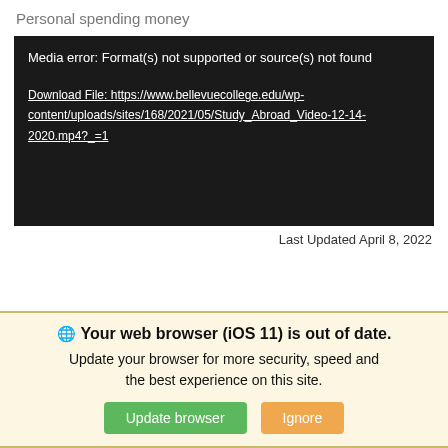Personal spending money
[Figure (screenshot): Black video player box showing a media error message: 'Media error: Format(s) not supported or source(s) not found' with a download link below.]
Last Updated April 8, 2022
Your web browser (iOS 11) is out of date. Update your browser for more security, speed and the best experience on this site.
Update browser  Ignore